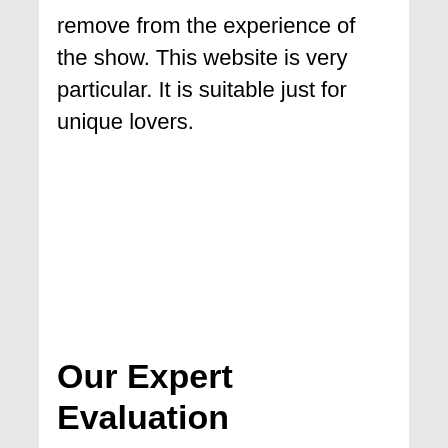remove from the experience of the show. This website is very particular. It is suitable just for unique lovers.
Our Expert Evaluation